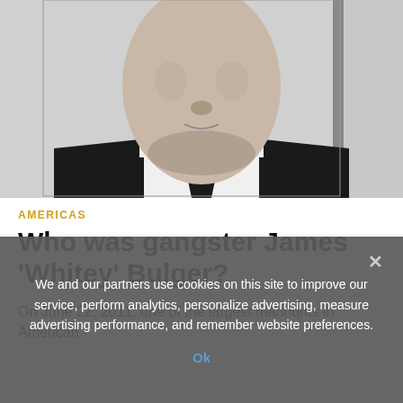[Figure (photo): Black and white mugshot-style photograph of a man in a suit and tie, cropped to show from shoulders to just below the nose.]
AMERICAS
Who was gangster James 'Whitey' Bulger?
On June 22, 2011, one of the largest manhunts in American
We and our partners use cookies on this site to improve our service, perform analytics, personalize advertising, measure advertising performance, and remember website preferences.
Ok